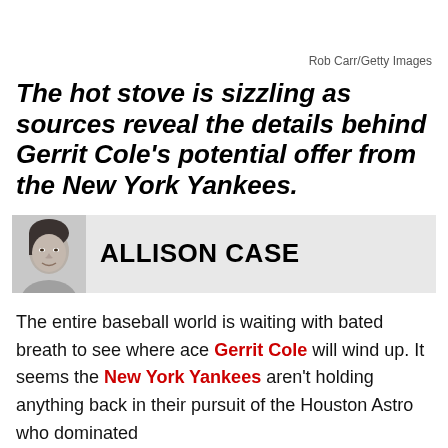Rob Carr/Getty Images
The hot stove is sizzling as sources reveal the details behind Gerrit Cole's potential offer from the New York Yankees.
[Figure (photo): Headshot photo of author Allison Case in black and white]
ALLISON CASE
The entire baseball world is waiting with bated breath to see where ace Gerrit Cole will wind up. It seems the New York Yankees aren't holding anything back in their pursuit of the Houston Astro who dominated